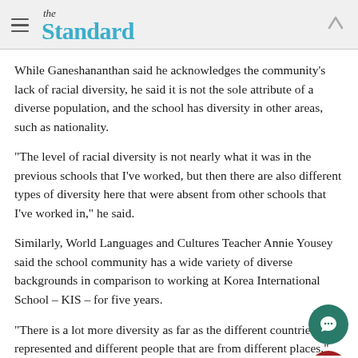the Standard
While Ganeshananthan said he acknowledges the community's lack of racial diversity, he said it is not the sole attribute of a diverse population, and the school has diversity in other areas, such as nationality.
"The level of racial diversity is not nearly what it was in the previous schools that I've worked, but then there are also different types of diversity here that were absent from other schools that I've worked in," he said.
Similarly, World Languages and Cultures Teacher Annie Yousey said the school community has a wide variety of diverse backgrounds in comparison to working at Korea International School – KIS – for five years.
"There is a lot more diversity as far as the different countries are represented and different people that are from different places," she said.
Blanks, who was recently elected as one of the new co-presidents